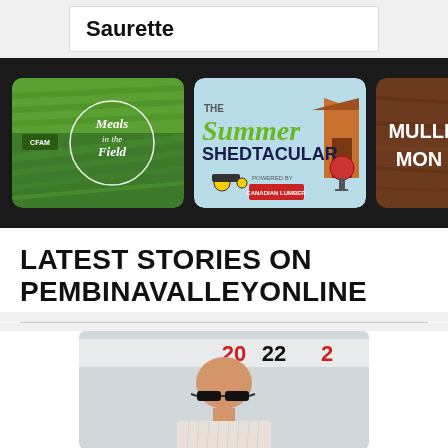Saurette
[Figure (illustration): Dark banner with three promotional image cards: 'Meals in the Field' (CFAN branded, green field background), 'The Summer Shedtacular' (powered by Canadian Lumber), and partially visible 'Mulli Money' card on dark wood background]
LATEST STORIES ON PEMBINAVALLEYONLINE
[Figure (photo): A bald man wearing dark sunglasses and a light-colored striped shirt, photographed outdoors with a banner showing '2022' in red and black text in the background]